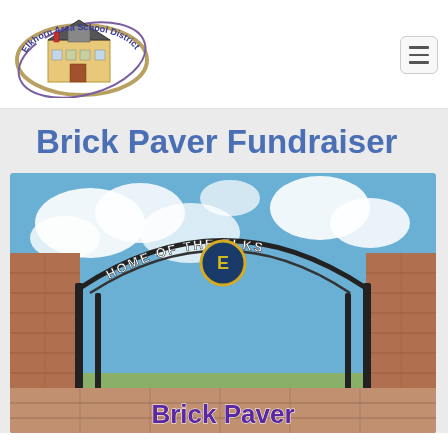[Figure (logo): Elkhorn Area School District logo with school building illustration and oval ring with text]
[Figure (photo): School entrance gate with iron arch reading 'Home of the Elks' with Elks logo medallion, brick pillars, blue sky with clouds, and 'Brick Paver' text overlay at bottom in purple]
Brick Paver Fundraiser